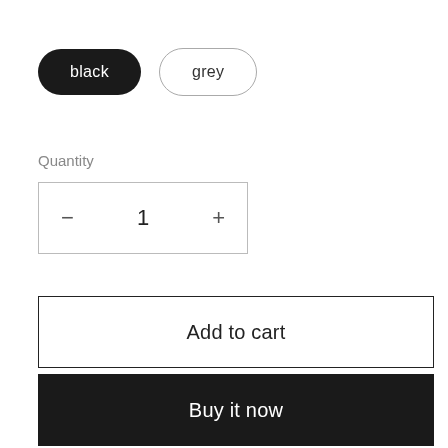black  grey
Quantity
- 1 +
Add to cart
Buy it now
Dimensions